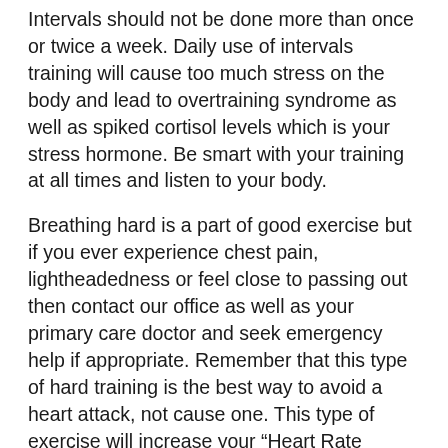Intervals should not be done more than once or twice a week. Daily use of intervals training will cause too much stress on the body and lead to overtraining syndrome as well as spiked cortisol levels which is your stress hormone. Be smart with your training at all times and listen to your body.
Breathing hard is a part of good exercise but if you ever experience chest pain, lightheadedness or feel close to passing out then contact our office as well as your primary care doctor and seek emergency help if appropriate. Remember that this type of hard training is the best way to avoid a heart attack, not cause one. This type of exercise will increase your “Heart Rate Variability” which is a key marker for longevity and health. Heart Rate Variability (HRV) is the beat to beat variation that naturally occurs in a healthy nervous system.  If this concept is new to you then see my discussion of HRV on my website “Heart Rate Variability”